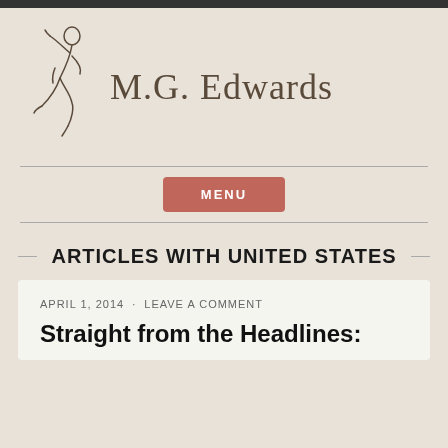[Figure (logo): M.G. Edwards website header with hand-drawn figure logo and site name in decorative serif font]
MENU
ARTICLES WITH UNITED STATES
APRIL 1, 2014  ·  LEAVE A COMMENT
Straight from the Headlines: